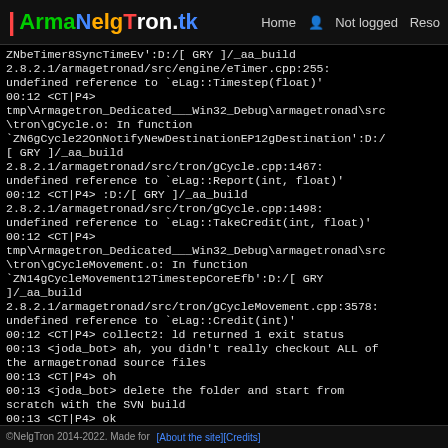| ArmaNelgTron.tk  Home  Not logged  Resources
ZNbeTimer8SyncTimeEv':D:/[ GRY ]/_aa_build 2.8.2.1/armagetronad/src/engine/eTimer.cpp:255: undefined reference to `eLag::Timestep(float)'
00:12 <CT|P4>
tmp\Armagetron_Dedicated___Win32_Debug\armagetronad\src\tron\gCycle.o: In function
`ZN6gCycle22OnNotifyNewDestinationEP12gDestination':D:/[ GRY ]/_aa_build
2.8.2.1/armagetronad/src/tron/gCycle.cpp:1467:
undefined reference to `eLag::Report(int, float)'
00:12 <CT|P4> :D:/[ GRY ]/_aa_build
2.8.2.1/armagetronad/src/tron/gCycle.cpp:1498:
undefined reference to `eLag::TakeCredit(int, float)'
00:12 <CT|P4>
tmp\Armagetron_Dedicated___Win32_Debug\armagetronad\src\tron\gCycleMovement.o: In function
`ZN14gCycleMovement12TimestepCoreEfb':D:/[ GRY
]/_aa_build
2.8.2.1/armagetronad/src/tron/gCycleMovement.cpp:3578:
undefined reference to `eLag::Credit(int)'
00:12 <CT|P4> collect2: ld returned 1 exit status
00:13 <joda_bot> ah, you didn't really checkout ALL of the armagetronad source files
00:13 <CT|P4> oh
00:13 <joda_bot> delete the folder and start from scratch with the SVN build
00:13 <CT|P4> ok
©NelgTron 2014-2022. Made for  [About the site] [Credits]